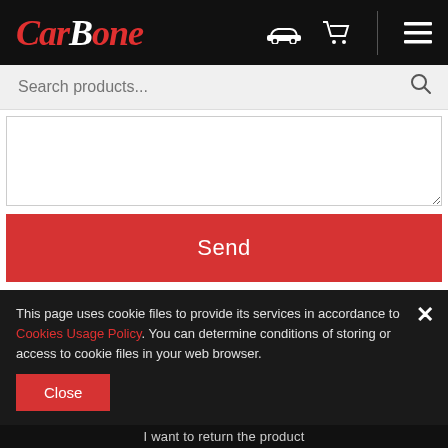CarBone — navigation header with logo, car icon, cart icon, menu icon
Search products...
[Figure (screenshot): Textarea input field for a form]
Send
This page uses cookie files to provide its services in accordance to Cookies Usage Policy. You can determine conditions of storing or access to cookie files in your web browser.
Close
I want to return the product